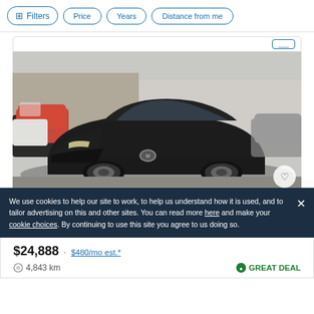Filters | Price | Years | Distance from me
[Figure (photo): Black Mazda 3 hatchback photographed in a used car lot. Other vehicles including a red SUV and white crossover visible in the background.]
We use cookies to help our site to work, to help us understand how it is used, and to tailor advertising on this and other sites. You can read more here and make your cookie choices. By continuing to use this site you agree to us doing so.
$24,888  ·  $480/mo est.*
4,843 km   GREAT DEAL